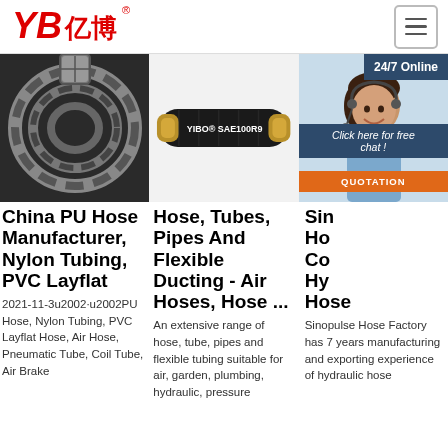[Figure (logo): YB亿博 company logo in red with registered trademark symbol]
[Figure (photo): Photo of a coiled steel-braided hydraulic hose, dark metallic]
[Figure (photo): Photo of a straight black rubber hose labeled YIBO SAE100R9]
[Figure (photo): Photo of a female customer service agent with headset, smiling. Overlay shows 24/7 Online badge, Click here for free chat, and QUOTATION button]
China PU Hose Manufacturer, Nylon Tubing, PVC Layflat
2021-11-3u2002·u2002PU Hose, Nylon Tubing, PVC Layflat Hose, Air Hose, Pneumatic Tube, Coil Tube, Air Brake
Hose, Tubes, Pipes And Flexible Ducting - Air Hoses, Hose ...
An extensive range of hose, tube, pipes and flexible tubing suitable for air, garden, plumbing, hydraulic, pressure
Sin Ho Co Hy Hose
Sinopulse Hose Factory has 7 years manufacturing and exporting experience of hydraulic hose